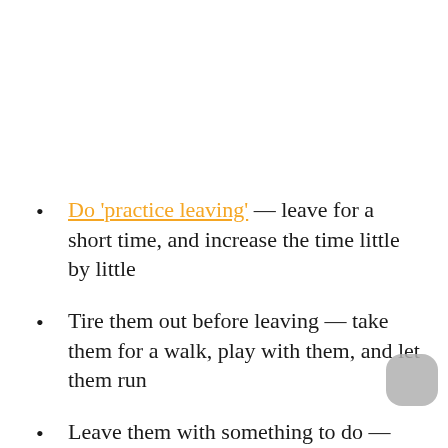Do 'practice leaving' — leave for a short time, and increase the time little by little
Tire them out before leaving — take them for a walk, play with them, and let them run
Leave them with something to do — give them their favorite toy, leave the TV on, etc.
Try giving them some calming